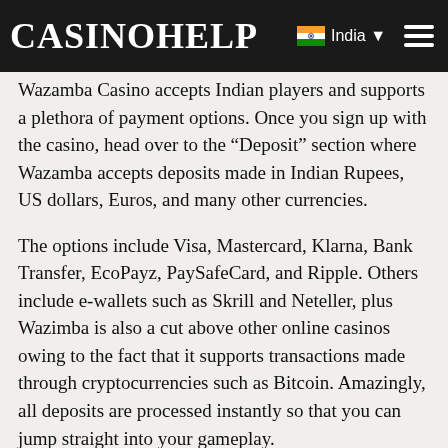CasinoHelp — India
Wazamba Casino accepts Indian players and supports a plethora of payment options. Once you sign up with the casino, head over to the “Deposit” section where Wazamba accepts deposits made in Indian Rupees, US dollars, Euros, and many other currencies.
The options include Visa, Mastercard, Klarna, Bank Transfer, EcoPayz, PaySafeCard, and Ripple. Others include e-wallets such as Skrill and Neteller, plus Wazimba is also a cut above other online casinos owing to the fact that it supports transactions made through cryptocurrencies such as Bitcoin. Amazingly, all deposits are processed instantly so that you can jump straight into your gameplay.
If you are worried about processing fees, well, the casino does not levy any charges. The minimum deposit you are allowed to make will depend on your chosen payment method. However, the casino holds the right to determine